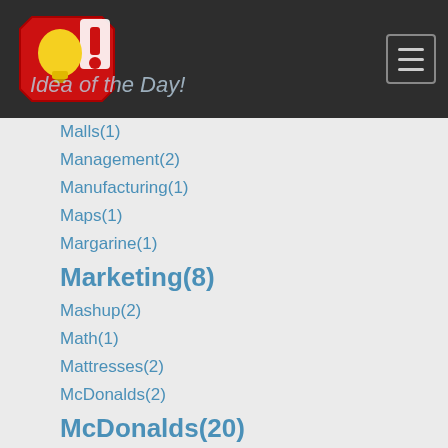Idea of the Day!
Malls(1)
Management(2)
Manufacturing(1)
Maps(1)
Margarine(1)
Marketing(8)
Mashup(2)
Math(1)
Mattresses(2)
McDonalds(2)
McDonalds(20)
Meat(1)
Media(22)
Medical(3)
Medicine(1)
Meditation(1)
Memorial Day(1)
Memory(1)
Memory Cards(1)